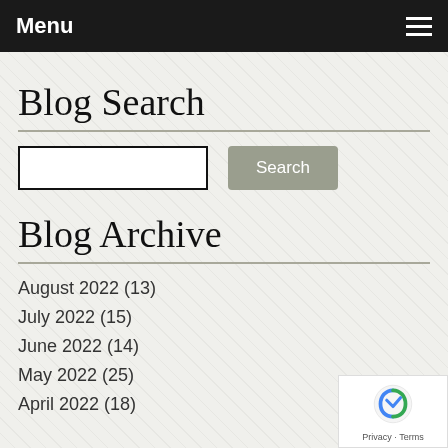Menu
Blog Search
[Search input field] [Search button]
Blog Archive
August 2022 (13)
July 2022 (15)
June 2022 (14)
May 2022 (25)
April 2022 (18)